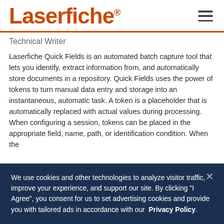Laserfiche®
Technical Writer
Laserfiche Quick Fields is an automated batch capture tool that lets you identify, extract information from, and automatically store documents in a repository. Quick Fields uses the power of tokens to turn manual data entry and storage into an instantaneous, automatic task. A token is a placeholder that is automatically replaced with actual values during processing. When configuring a session, tokens can be placed in the appropriate field, name, path, or identification condition. When the
We use cookies and other technologies to analyze visitor traffic, improve your experience, and support our site. By clicking "I Agree", you consent for us to set advertising cookies and provide you with tailored ads in accordance with our Privacy Policy.